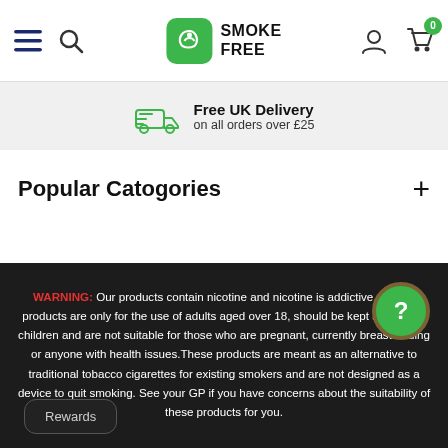Smoke Free – Navigation header with hamburger menu, search, logo, user icon, cart (0)
Free UK Delivery on all orders over £25
Popular Catogories
WARNING: Our products contain nicotine and nicotine is addictive. Vaping products are only for the use of adults aged over 18, should be kept away from children and are not suitable for those who are pregnant, currently breastfeeding or anyone with health issues. These products are meant as an alternative to traditional tobacco cigarettes for existing smokers and are not designed as a device to quit smoking. See your GP if you have concerns about the suitability of these products for you.
Rewards